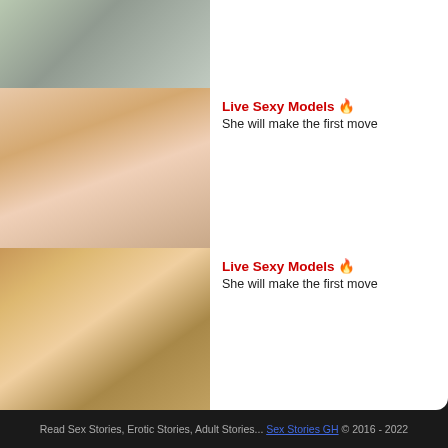[Figure (photo): Top cropped photo of a person in a grey top against snowy background]
[Figure (photo): Close-up photo]
Live Sexy Models 🔥 She will make the first move
[Figure (photo): Photo of a tattooed blonde woman in a bedroom setting]
Live Sexy Models 🔥 She will make the first move
Read Sex Stories, Erotic Stories, Adult Stories... Sex Stories GH © 2016 - 2022